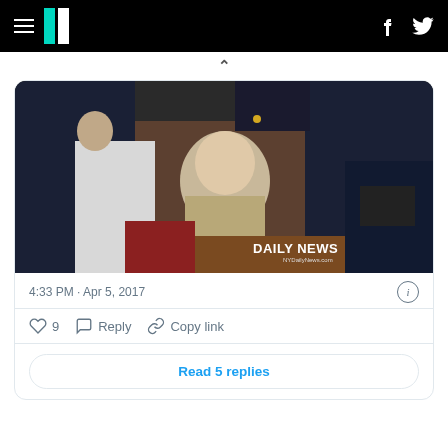HuffPost navigation bar with hamburger menu, logo, Facebook and Twitter icons
[Figure (photo): Courtroom photo of a young blond man in a tan/khaki shirt seated at a table, flanked by uniformed police officers. The Daily News watermark appears in the bottom right corner. Photo credit: NYDailyNews.com]
4:33 PM · Apr 5, 2017
9  Reply  Copy link
Read 5 replies